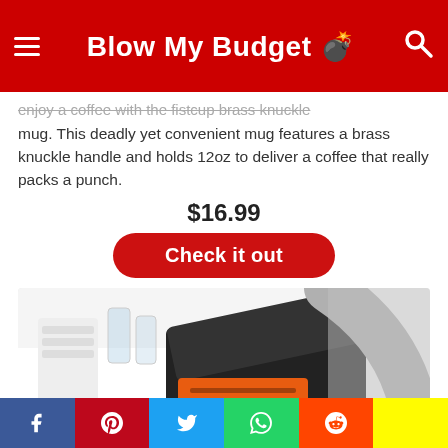Blow My Budget
enjoy a coffee with the fistcup brass knuckle mug. This deadly yet convenient mug features a brass knuckle handle and holds 12oz to deliver a coffee that really packs a punch.
$16.99
Check it out
[Figure (photo): Person placing or removing a black appliance tray from a countertop appliance, with white dishes and glasses visible in the background.]